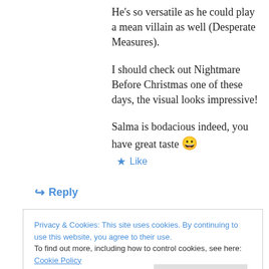He's so versatile as he could play a mean villain as well (Desperate Measures).
I should check out Nightmare Before Christmas one of these days, the visual looks impressive!
Salma is bodacious indeed, you have great taste 😀
★ Like
↪ Reply
Privacy & Cookies: This site uses cookies. By continuing to use this website, you agree to their use. To find out more, including how to control cookies, see here: Cookie Policy
Close and accept